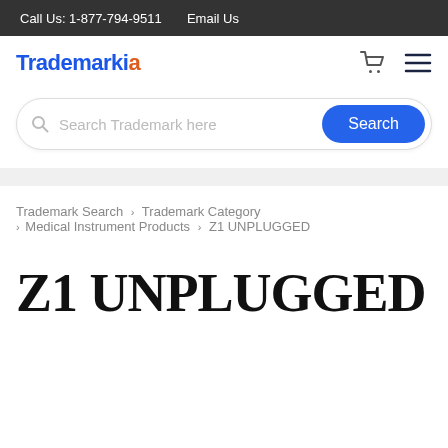Call Us: 1-877-794-9511    Email Us
[Figure (logo): Trademarkia logo with blue text and orange dot, plus cart icon and hamburger menu]
[Figure (screenshot): Search bar with placeholder 'Search Trademark here' and blue Search button]
Trademark Search > Trademark Category > Medical Instrument Products > Z1 UNPLUGGED
Z1 UNPLUGGED